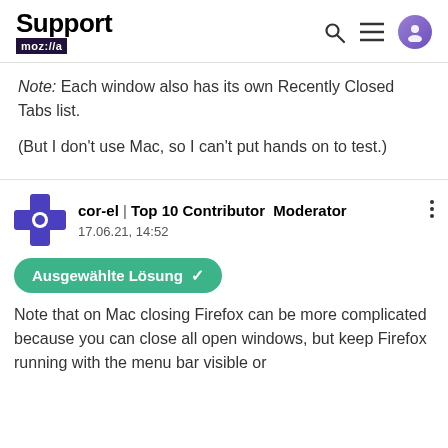Support mozilla // [search icon] [menu icon] [user icon]
Note: Each window also has its own Recently Closed Tabs list.
(But I don't use Mac, so I can't put hands on to test.)
cor-el | Top 10 Contributor  Moderator
17.06.21, 14:52
Ausgewählte Lösung ✓
Note that on Mac closing Firefox can be more complicated because you can close all open windows, but keep Firefox running with the menu bar visible or